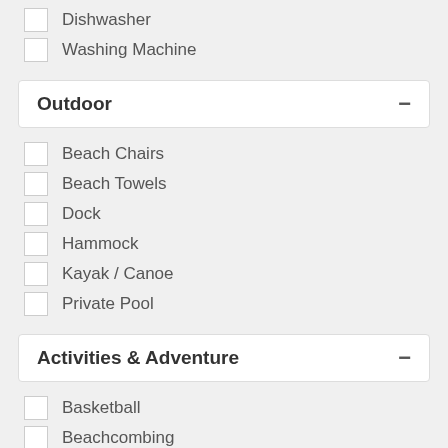Dishwasher
Washing Machine
Outdoor
Beach Chairs
Beach Towels
Dock
Hammock
Kayak / Canoe
Private Pool
Activities & Adventure
Basketball
Beachcombing
Bird Watching
Boating
Deep Sea Fishing
Diving